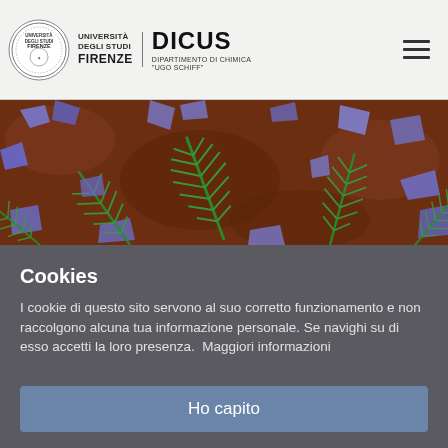Università degli Studi Firenze | DICUS Dipartimento di Chimica "Ugo Schiff"
[Figure (photo): Colorized scanning electron microscope image showing fern-like green crystal structures and blue-purple irregular mineral fragments on a reddish-brown background.]
Cookies
I cookie di questo sito servono al suo corretto funzionamento e non raccolgono alcuna tua informazione personale. Se navighi su di esso accetti la loro presenza.  Maggiori informazioni
Ho capito